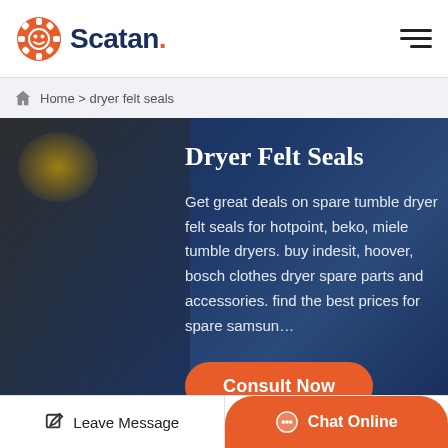Scatan.
Home > dryer felt seals
Dryer Felt Seals
Get great deals on spare tumble dryer felt seals for hotpoint, beko, miele tumble dryers. buy indesit, hoover, bosch clothes dryer spare parts and accessories. find the best prices for spare samsun…
Consult Now
Leave Message | Chat Online